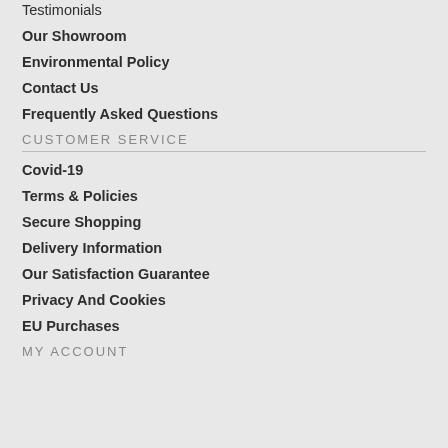Testimonials
Our Showroom
Environmental Policy
Contact Us
Frequently Asked Questions
CUSTOMER SERVICE
Covid-19
Terms & Policies
Secure Shopping
Delivery Information
Our Satisfaction Guarantee
Privacy And Cookies
EU Purchases
MY ACCOUNT